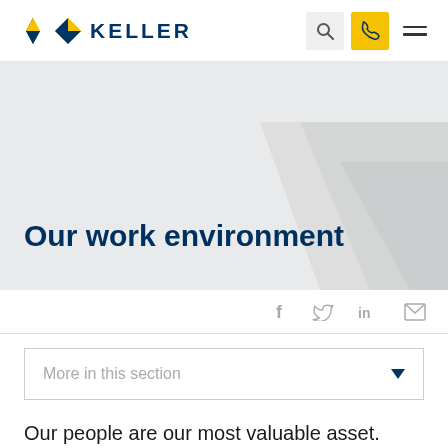[Figure (logo): Keller logo with diamond icon and bold KELLER text in navy blue]
[Figure (screenshot): Navigation bar with search button (grey), phone button (yellow), and hamburger menu icon]
Our work environment
[Figure (infographic): Social sharing icons: Facebook (f), Twitter bird, LinkedIn (in), envelope/email]
More in this section
Our people are our most valuable asset. We are committed to creating a work